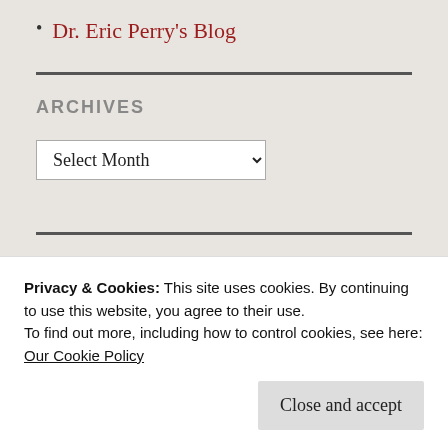Dr. Eric Perry's Blog
ARCHIVES
Select Month (dropdown)
Chatting with... (partial title, cut off)
Privacy & Cookies: This site uses cookies. By continuing to use this website, you agree to their use. To find out more, including how to control cookies, see here: Our Cookie Policy
Close and accept